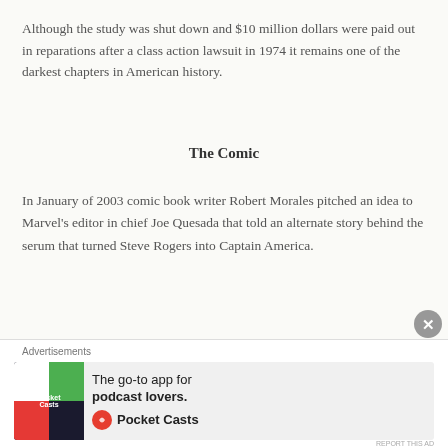Although the study was shut down and $10 million dollars were paid out in reparations after a class action lawsuit in 1974 it remains one of the darkest chapters in American history.
The Comic
In January of 2003 comic book writer Robert Morales pitched an idea to Marvel's editor in chief Joe Quesada that told an alternate story behind the serum that turned Steve Rogers into Captain America.
[Figure (photo): Close-up photograph of what appears to be a metallic/silver instrument or object, dark moody tones with brown and dark background]
Advertisements
The go-to app for podcast lovers. Pocket Casts